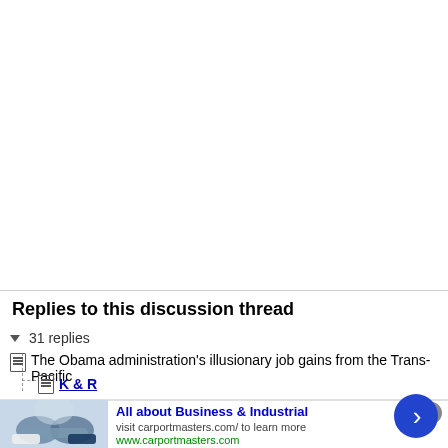Replies to this discussion thread
▾ 31 replies
The Obama administration's illusionary job gains from the Trans-Pacific
K & R
[Figure (infographic): Advertisement banner for carportmasters.com showing a handshake photo, title 'All about Business & Industrial', subtitle 'visit carportmasters.com/ to learn more', URL 'www.carportmasters.com', with a close button and a blue arrow button]